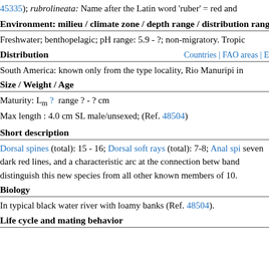45335); rubrolineata: Name after the Latin word 'ruber' = red and
Environment: milieu / climate zone / depth range / distribution range
Freshwater; benthopelagic; pH range: 5.9 - ?; non-migratory. Tropi
Distribution
Countries | FAO areas | E
South America: known only from the type locality, Rio Manuripi in
Size / Weight / Age
Maturity: Lm ? range ? - ? cm
Max length : 4.0 cm SL male/unsexed; (Ref. 48504)
Short description
Dorsal spines (total): 15 - 16; Dorsal soft rays (total): 7-8; Anal spi seven dark red lines, and a characteristic arc at the connection betw band distinguish this new species from all other known members of 10.
Biology
In typical black water river with loamy banks (Ref. 48504).
Life cycle and mating behavior